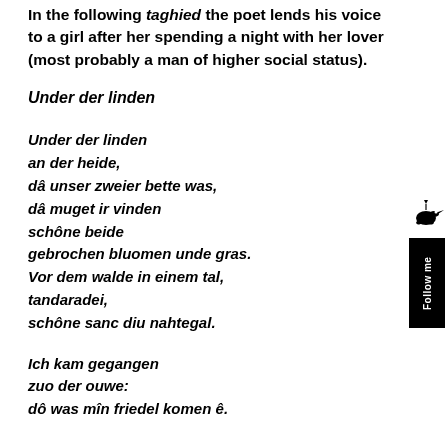In the following taghied the poet lends his voice to a girl after her spending a night with her lover (most probably a man of higher social status).
Under der linden
Under der linden
an der heide,
dâ unser zweier bette was,
dâ muget ir vinden
schône beide
gebrochen bluomen unde gras.
Vor dem walde in einem tal,
tandaradei,
schône sanc diu nahtegal.
Ich kam gegangen
zuo der ouwe:
dô was mîn friedel komen ê.